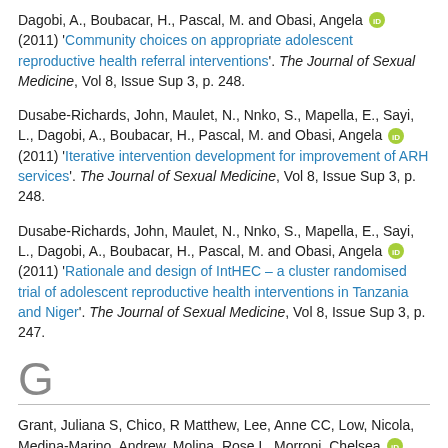Dagobi, A., Boubacar, H., Pascal, M. and Obasi, Angela [orcid] (2011) 'Community choices on appropriate adolescent reproductive health referral interventions'. The Journal of Sexual Medicine, Vol 8, Issue Sup 3, p. 248.
Dusabe-Richards, John, Maulet, N., Nnko, S., Mapella, E., Sayi, L., Dagobi, A., Boubacar, H., Pascal, M. and Obasi, Angela [orcid] (2011) 'Iterative intervention development for improvement of ARH services'. The Journal of Sexual Medicine, Vol 8, Issue Sup 3, p. 248.
Dusabe-Richards, John, Maulet, N., Nnko, S., Mapella, E., Sayi, L., Dagobi, A., Boubacar, H., Pascal, M. and Obasi, Angela [orcid] (2011) 'Rationale and design of IntHEC – a cluster randomised trial of adolescent reproductive health interventions in Tanzania and Niger'. The Journal of Sexual Medicine, Vol 8, Issue Sup 3, p. 247.
G
Grant, Juliana S, Chico, R Matthew, Lee, Anne CC, Low, Nicola, Medina-Marino, Andrew, Molina, Rose L, Morroni, Chelsea [orcid], Ramogola-Masire, Doreen, Stafylis, Chrysovalantis, Tang, Weiming, Vallely, Andrew J, Wynn, Adriane, Yeganeh, Nava and